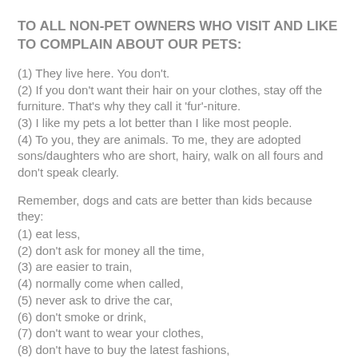TO ALL NON-PET OWNERS WHO VISIT AND LIKE TO COMPLAIN ABOUT OUR PETS:
(1) They live here. You don't.
(2) If you don't want their hair on your clothes, stay off the furniture. That's why they call it 'fur'-niture.
(3) I like my pets a lot better than I like most people.
(4) To you, they are animals. To me, they are adopted sons/daughters who are short, hairy, walk on all fours and don't speak clearly.
Remember, dogs and cats are better than kids because they:
(1) eat less,
(2) don't ask for money all the time,
(3) are easier to train,
(4) normally come when called,
(5) never ask to drive the car,
(6) don't smoke or drink,
(7) don't want to wear your clothes,
(8) don't have to buy the latest fashions,
(9) don't need a gazillion dollars for college and
(10) if they get pregnant, you can sell their children.